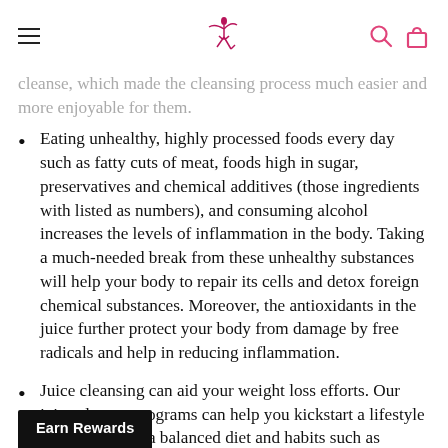[navigation: menu icon, logo, search icon, bag icon]
cleanse, which made the cleansing process much easier and more enjoyable for them.
Eating unhealthy, highly processed foods every day such as fatty cuts of meat, foods high in sugar, preservatives and chemical additives (those ingredients with listed as numbers), and consuming alcohol increases the levels of inflammation in the body. Taking a much-needed break from these unhealthy substances will help your body to repair its cells and detox foreign chemical substances. Moreover, the antioxidants in the juice further protect your body from damage by free radicals and help in reducing inflammation.
Juice cleansing can aid your weight loss efforts. Our juice cleanse programs can help you kickstart a lifestyle which includes a balanced diet and habits such as regular cleansing.